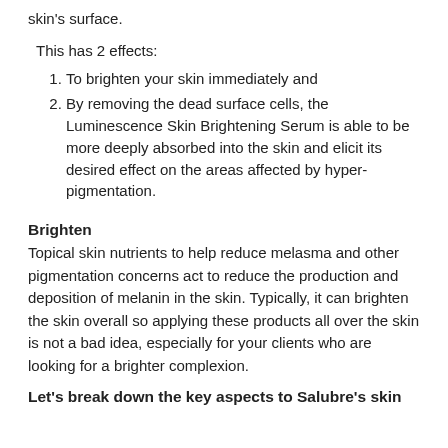skin's surface.
This has 2 effects:
To brighten your skin immediately and
By removing the dead surface cells, the Luminescence Skin Brightening Serum is able to be more deeply absorbed into the skin and elicit its desired effect on the areas affected by hyper-pigmentation.
Brighten
Topical skin nutrients to help reduce melasma and other pigmentation concerns act to reduce the production and deposition of melanin in the skin. Typically, it can brighten the skin overall so applying these products all over the skin is not a bad idea, especially for your clients who are looking for a brighter complexion.
Let's break down the key aspects to Salubre's skin